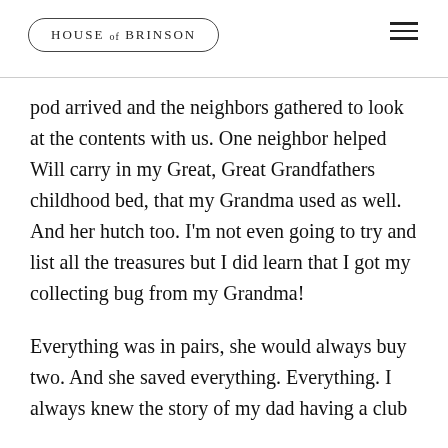HOUSE OF BRINSON
pod arrived and the neighbors gathered to look at the contents with us. One neighbor helped Will carry in my Great, Great Grandfathers childhood bed, that my Grandma used as well. And her hutch too. I’m not even going to try and list all the treasures but I did learn that I got my collecting bug from my Grandma!
Everything was in pairs, she would always buy two. And she saved everything. Everything. I always knew the story of my dad having a club